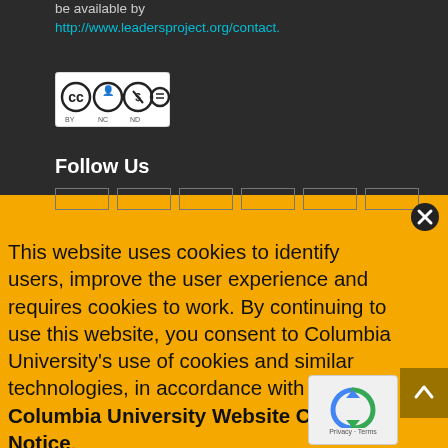be available by http://www.leadersproject.org/contact.
[Figure (logo): Creative Commons license badge: CC BY NC ND]
Follow Us
This website uses cookies to identify users, improve the user experience and requires cookies to work. By continuing to use this website, you consent to Columbia University's use of cookies and similar technologies, in accordance with the Columbia University Website Cookie Notice.